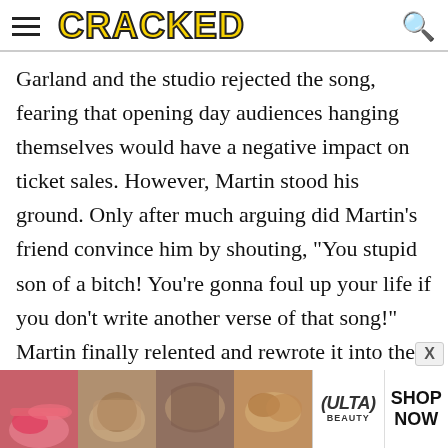CRACKED
Garland and the studio rejected the song, fearing that opening day audiences hanging themselves would have a negative impact on ticket sales. However, Martin stood his ground. Only after much arguing did Martin's friend convince him by shouting, "You stupid son of a bitch! You're gonna foul up your life if you don't write another verse of that song!" Martin finally relented and rewrote it into the version we know today, though he insisted on leaving in the morose lyric about "muddl through somehow." Guess he
[Figure (photo): Ulta Beauty advertisement banner showing close-up beauty/makeup photos with ULTA logo and SHOP NOW call to action]